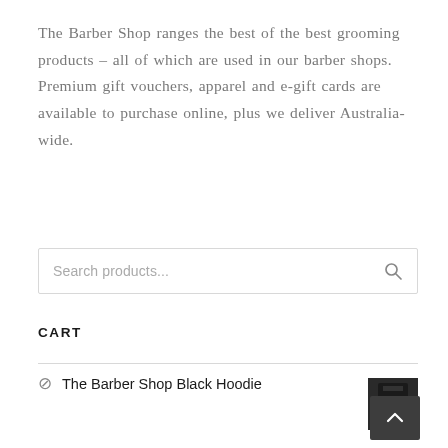The Barber Shop ranges the best of the best grooming products – all of which are used in our barber shops. Premium gift vouchers, apparel and e-gift cards are available to purchase online, plus we deliver Australia-wide.
Search products...
CART
⊗  The Barber Shop Black Hoodie  1 ×